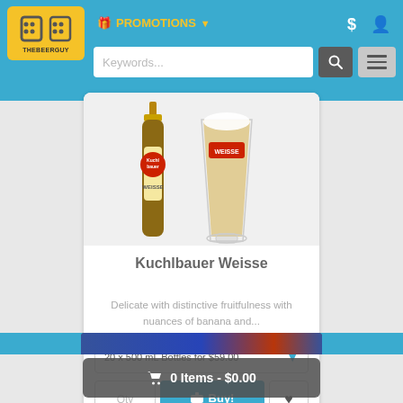THEBEERGUY | PROMOTIONS | $ | user icon | Keywords... search | menu
[Figure (photo): Product photo of Kuchlbauer Weisse beer bottle next to a tall pilsner glass filled with golden beer]
Kuchlbauer Weisse
Delicate with distinctive fruitfulness with nuances of banana and...
20 x 500 mL Bottles for $59.00
Qty   Buy!   ♥
🛒 0 Items - $0.00